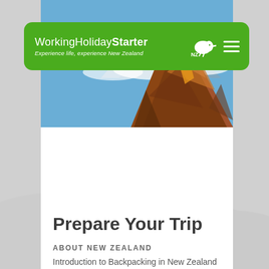[Figure (screenshot): Screenshot of WorkingHolidayStarter website showing a green navigation bar with logo and hamburger menu, a hero image of a rugged rocky mountain peak against blue sky with snow-capped mountains in the background, and a snowy landscape background]
WorkingHolidayStarter — Experience life, experience New Zealand
Prepare Your Trip
ABOUT NEW ZEALAND
Introduction to Backpacking in New Zealand